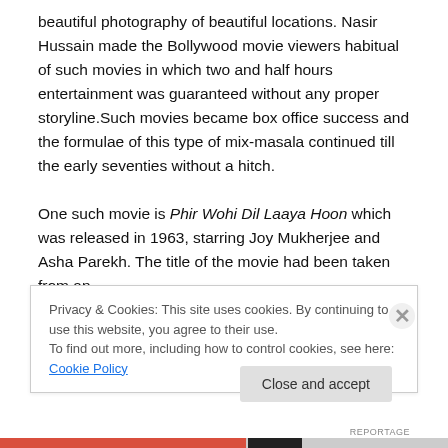beautiful photography of beautiful locations. Nasir Hussain made the Bollywood movie viewers habitual of such movies in which two and half hours entertainment was guaranteed without any proper storyline.Such movies became box office success and the formulae of this type of mix-masala continued till the early seventies without a hitch.

One such movie is Phir Wohi Dil Laaya Hoon which was released in 1963, starring Joy Mukherjee and Asha Parekh. The title of the movie had been taken from an
Privacy & Cookies: This site uses cookies. By continuing to use this website, you agree to their use.
To find out more, including how to control cookies, see here: Cookie Policy
Close and accept